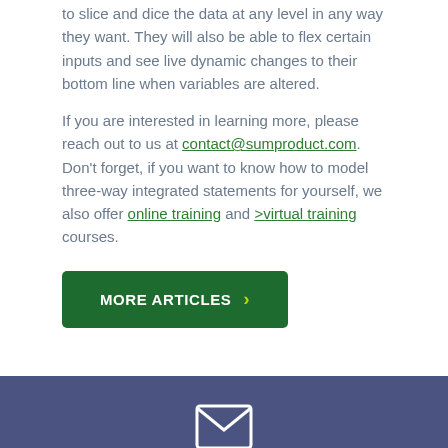to slice and dice the data at any level in any way they want. They will also be able to flex certain inputs and see live dynamic changes to their bottom line when variables are altered.
If you are interested in learning more, please reach out to us at contact@sumproduct.com. Don't forget, if you want to know how to model three-way integrated statements for yourself, we also offer online training and >virtual training courses.
MORE ARTICLES >
[Figure (illustration): Newsletter signup section with envelope icon and 'Newsletter' heading on a dark blue-purple background, followed by a 'First Name' input field on a lighter purple background]
First Name